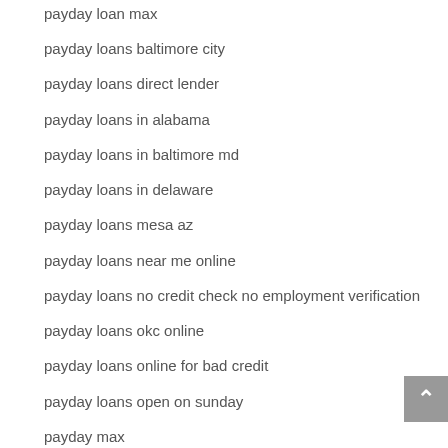payday loan max
payday loans baltimore city
payday loans direct lender
payday loans in alabama
payday loans in baltimore md
payday loans in delaware
payday loans mesa az
payday loans near me online
payday loans no credit check no employment verification
payday loans okc online
payday loans online for bad credit
payday loans open on sunday
payday max
payday max loans